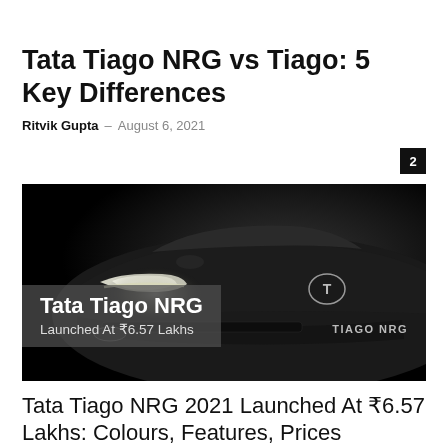Tata Tiago NRG vs Tiago: 5 Key Differences
Ritvik Gupta – August 6, 2021
[Figure (photo): Dark promotional image of Tata Tiago NRG car headlights with overlay text: Tata Tiago NRG Launched At ₹6.57 Lakhs and TIAGO NRG badge]
Tata Tiago NRG 2021 Launched At ₹6.57 Lakhs: Colours, Features, Prices